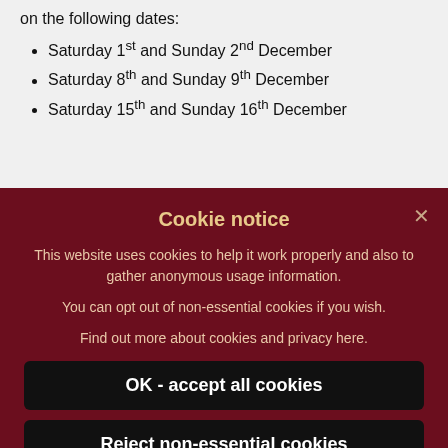on the following dates:
Saturday 1st and Sunday 2nd December
Saturday 8th and Sunday 9th December
Saturday 15th and Sunday 16th December
Cookie notice
This website uses cookies to help it work properly and also to gather anonymous usage information.
You can opt out of non-essential cookies if you wish.
Find out more about cookies and privacy here.
OK - accept all cookies
Reject non-essential cookies